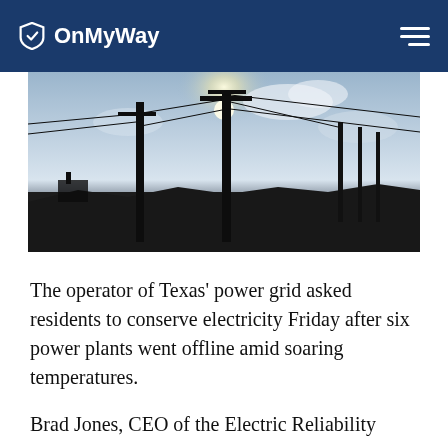OnMyWay
[Figure (photo): Silhouette of tall electricity transmission poles against a bright sky with sun glare and clouds, power lines stretching across the frame]
The operator of Texas' power grid asked residents to conserve electricity Friday after six power plants went offline amid soaring temperatures.
Brad Jones, CEO of the Electric Reliability